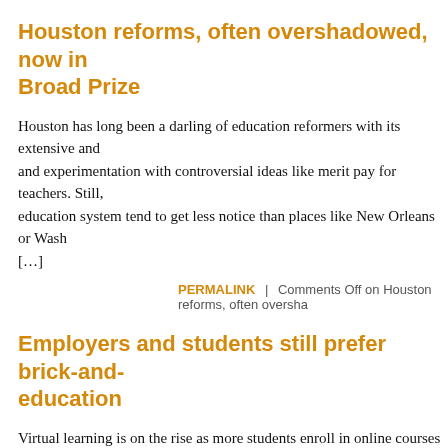Houston reforms, often overshadowed, now in… Broad Prize
Houston has long been a darling of education reformers with its extensive and experimentation with controversial ideas like merit pay for teachers. Still, education system tend to get less notice than places like New Orleans or Wash… […]
PERMALINK | Comments Off on Houston reforms, often oversha…
Employers and students still prefer brick-and-… education
Virtual learning is on the rise as more students enroll in online courses at both enthusiasm for online learning, including the increasing interest in MOOCs— has led some to question the future brick-and-mortar institutions. But employe… person educational experiences on the resumes […]